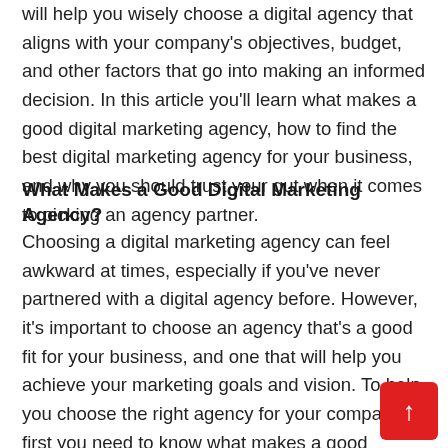will help you wisely choose a digital agency that aligns with your company's objectives, budget, and other factors that go into making an informed decision. In this article you'll learn what makes a good digital marketing agency, how to find the best digital marketing agency for your business, and why you should trust your gut when it comes to picking an agency partner.
What Makes a Good Digital Marketing Agency?
Choosing a digital marketing agency can feel awkward at times, especially if you've never partnered with a digital agency before. However, it's important to choose an agency that's a good fit for your business, and one that will help you achieve your marketing goals and vision. To help you choose the right agency for your company, first you need to know what makes a good